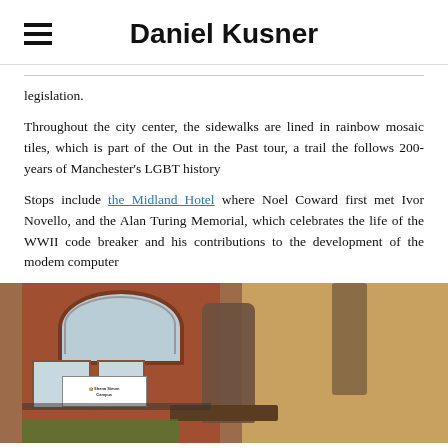Daniel Kusner
legislation.
Throughout the city center, the sidewalks are lined in rainbow mosaic tiles, which is part of the Out in the Past tour, a trail the follows 200- years of Manchester's LGBT history
Stops include the Midland Hotel where Noel Coward first met Ivor Novello, and the Alan Turing Memorial, which celebrates the life of the WWII code breaker and his contributions to the development of the modem computer
[Figure (photo): Photograph of the Alan Turing Memorial statue seated on a bench outside the Shena Simon Campus building, a red brick structure with an arched window, with trees visible to the right in warm afternoon light.]